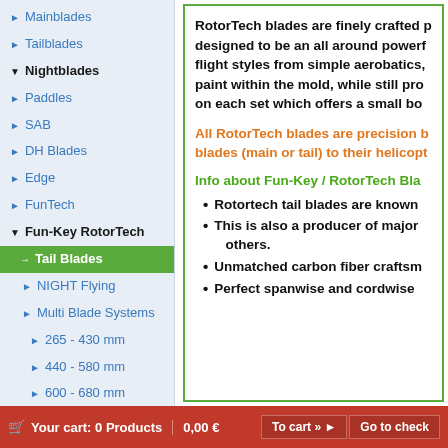Mainblades
Tailblades
Nightblades
Paddles
SAB
DH Blades
Edge
FunTech
Fun-Key RotorTech
Tail Blades
NIGHT Flying
Multi Blade Systems
265 - 430 mm
440 - 580 mm
600 - 680 mm
685 - 720 mm
RotorTech blades are finely crafted p... designed to be an all around powerf... flight styles from simple aerobatics, ... paint within the mold, while still pro... on each set which offers a small bo...
All RotorTech blades are precision b... blades (main or tail) to their helicopt...
Info about Fun-Key / RotorTech Bla...
Rotortech tail blades are known...
This is also a producer of major ... others.
Unmatched carbon fiber craftsm...
Perfect spanwise and cordwise...
Your cart: 0 Products  0,00 €  To cart »  Go to check